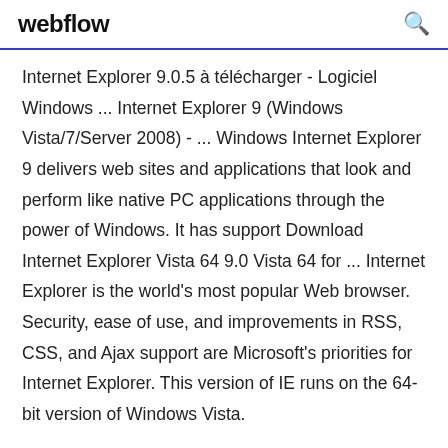webflow
Internet Explorer 9.0.5 à télécharger - Logiciel Windows ... Internet Explorer 9 (Windows Vista/7/Server 2008) - ... Windows Internet Explorer 9 delivers web sites and applications that look and perform like native PC applications through the power of Windows. It has support Download Internet Explorer Vista 64 9.0 Vista 64 for ... Internet Explorer is the world's most popular Web browser. Security, ease of use, and improvements in RSS, CSS, and Ajax support are Microsoft's priorities for Internet Explorer. This version of IE runs on the 64-bit version of Windows Vista.
8 Mai 2019 Thus, Internet Explorer 9 comes